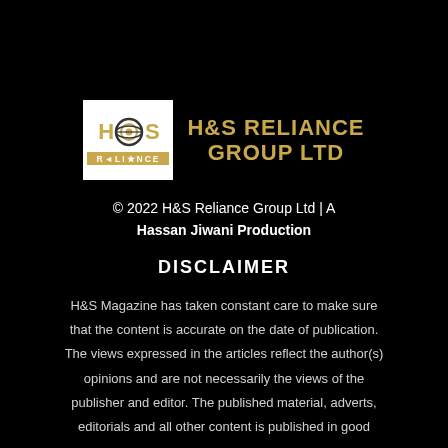[Figure (logo): H&S Reliance Group Ltd logo — square white background with stylized H, circular target/globe icon, S in gold, RELIANCE bar below in gold, next to bold gold text H&S RELIANCE GROUP LTD]
© 2022 H&S Reliance Group Ltd | A Hassan Jiwani Production
DISCLAIMER
H&S Magazine has taken constant care to make sure that the content is accurate on the date of publication. The views expressed in the articles reflect the author(s) opinions and are not necessarily the views of the publisher and editor. The published material, adverts, editorials and all other content is published in good